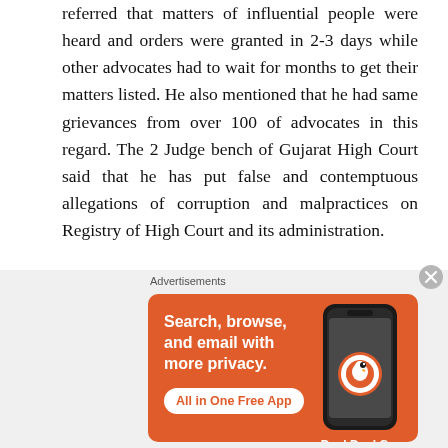referred that matters of influential people were heard and orders were granted in 2-3 days while other advocates had to wait for months to get their matters listed. He also mentioned that he had same grievances from over 100 of advocates in this regard. The 2 Judge bench of Gujarat High Court said that he has put false and contemptuous allegations of corruption and malpractices on Registry of High Court and its administration.
Judges further said that without caring of true facts and in the wave of populism he has condemned the institution. He also crossed his limits by giving open challenge to the authority of Court. He being President of GHCAA said such
[Figure (other): DuckDuckGo advertisement banner with orange background showing text 'Search, browse, and email with more privacy. All in One Free App' with a phone mockup and DuckDuckGo logo]